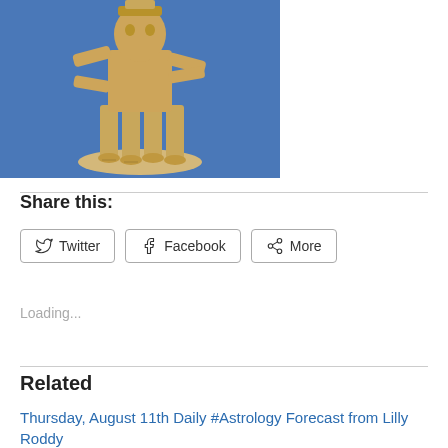[Figure (photo): Wooden carved figurine of a multi-limbed deity or figure on a round base, photographed against a blue background]
Share this:
Twitter
Facebook
More
Loading...
Related
Thursday, August 11th Daily #Astrology Forecast from Lilly Roddy